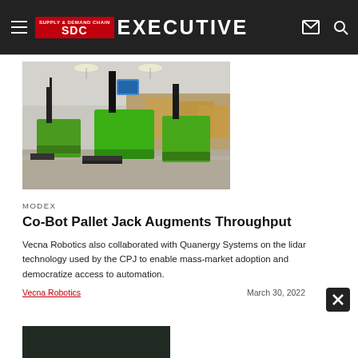SDC SUPPLY & DEMAND CHAIN EXECUTIVE
[Figure (photo): Three green autonomous pallet jack co-bots (Vecna Robotics CPJ) parked in a warehouse with cardboard boxes in the background, concrete floor, ceiling lights visible.]
MODEX
Co-Bot Pallet Jack Augments Throughput
Vecna Robotics also collaborated with Quanergy Systems on the lidar technology used by the CPJ to enable mass-market adoption and democratize access to automation.
Vecna Robotics
March 30, 2022